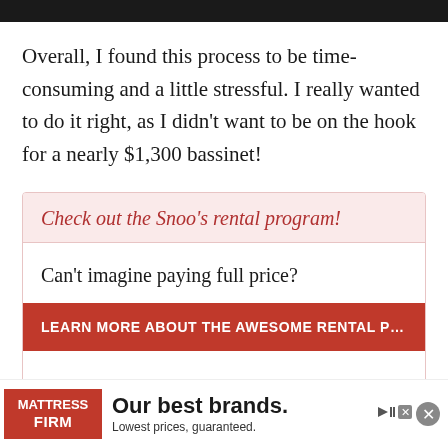Overall, I found this process to be time-consuming and a little stressful. I really wanted to do it right, as I didn't want to be on the hook for a nearly $1,300 bassinet!
Check out the Snoo's rental program!
Can't imagine paying full price?
LEARN MORE ABOUT THE AWESOME RENTAL PROGRAM!
Bottom Line
I woul…e
[Figure (other): Mattress Firm advertisement banner: logo on red background, text 'Our best brands. Lowest prices. guaranteed.' with close button]